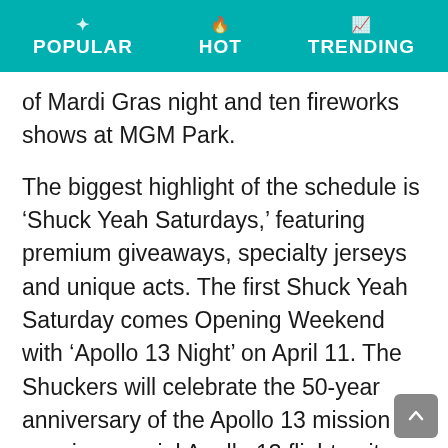POPULAR   HOT   TRENDING
of Mardi Gras night and ten fireworks shows at MGM Park.
The biggest highlight of the schedule is ‘Shuck Yeah Saturdays,’ featuring premium giveaways, specialty jerseys and unique acts. The first Shuck Yeah Saturday comes Opening Weekend with ‘Apollo 13 Night’ on April 11. The Shuckers will celebrate the 50-year anniversary of the Apollo 13 mission by wearing special Apollo 13 flight-suit jerseys that will be auctioned off during the game, with the proceeds benefitting the Infinity Science Center. The first 1,000 fans will also receive a Fred Haise Bobblehead presented by Keesler Federal Credit Union, honoring